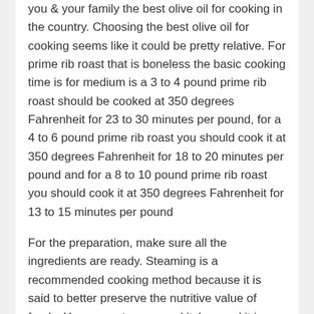you & your family the best olive oil for cooking in the country. Choosing the best olive oil for cooking seems like it could be pretty relative. For prime rib roast that is boneless the basic cooking time is for medium is a 3 to 4 pound prime rib roast should be cooked at 350 degrees Fahrenheit for 23 to 30 minutes per pound, for a 4 to 6 pound prime rib roast you should cook it at 350 degrees Fahrenheit for 18 to 20 minutes per pound and for a 8 to 10 pound prime rib roast you should cook it at 350 degrees Fahrenheit for 13 to 15 minutes per pound
For the preparation, make sure all the ingredients are ready. Steaming is a recommended cooking method because it is said to better preserve the nutritive value of foods. You can set up a new kitchen and it is both exiting and overwhelming
A traditional blender will work as well, but the high speed blenders are better for pureeing fresh fruits and vegetables for a creamy, delicious drink. The solids